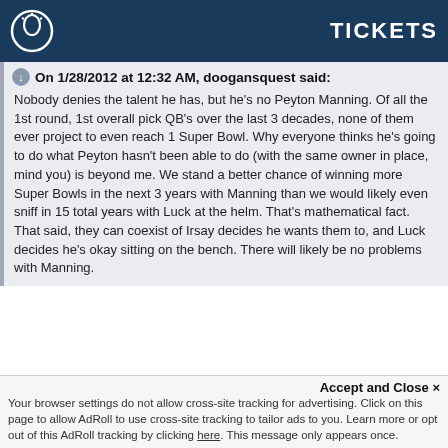TICKETS
On 1/28/2012 at 12:32 AM, doogansquest said:
Nobody denies the talent he has, but he's no Peyton Manning. Of all the 1st round, 1st overall pick QB's over the last 3 decades, none of them ever project to even reach 1 Super Bowl. Why everyone thinks he's going to do what Peyton hasn't been able to do (with the same owner in place, mind you) is beyond me. We stand a better chance of winning more Super Bowls in the next 3 years with Manning than we would likely even sniff in 15 total years with Luck at the helm. That's mathematical fact. That said, they can coexist of Irsay decides he wants them to, and Luck decides he's okay sitting on the bench. There will likely be no problems with Manning.
Mathematical fact huh.... please tell me you have some kind of degree in mathematics. If anything we have learned over the past decade or so, you can have the best QB in the game, but it doesn't guarantee a SB.
Accept and Close ✕
Your browser settings do not allow cross-site tracking for advertising. Click on this page to allow AdRoll to use cross-site tracking to tailor ads to you. Learn more or opt out of this AdRoll tracking by clicking here. This message only appears once.